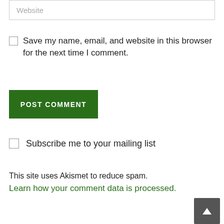Website
Save my name, email, and website in this browser for the next time I comment.
POST COMMENT
Subscribe me to your mailing list
This site uses Akismet to reduce spam. Learn how your comment data is processed.